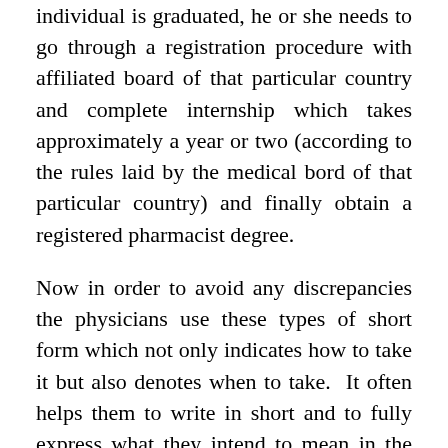individual is graduated, he or she needs to go through a registration procedure with affiliated board of that particular country and complete internship which takes approximately a year or two (according to the rules laid by the medical bord of that particular country) and finally obtain a registered pharmacist degree.
Now in order to avoid any discrepancies the physicians use these types of short form which not only indicates how to take it but also denotes when to take. It often helps them to write in short and to fully express what they intend to mean in the way of taking each and every drug as per the requirement. Though these types of short abbreviations are quite impossible to understand for the common mass who have less knowledge about them, the druggist or the pharmacist who regularly handle medical cases are very much aware of the terms